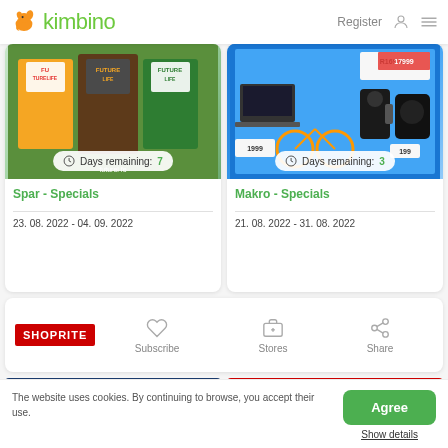kimbino — Register
[Figure (screenshot): Spar Specials promotional catalog thumbnail showing Futurelife cereal boxes with 'Days remaining: 7' badge]
Spar - Specials
23. 08. 2022 - 04. 09. 2022
[Figure (screenshot): Makro Specials promotional catalog thumbnail showing electronics and appliances with 'Days remaining: 3' badge]
Makro - Specials
21. 08. 2022 - 31. 08. 2022
[Figure (infographic): Shoprite store card with Subscribe, Stores, Share action icons]
[Figure (screenshot): Tech X for Top Tech banner and Shoprite promotional banner at bottom]
The website uses cookies. By continuing to browse, you accept their use.
Agree
Show details